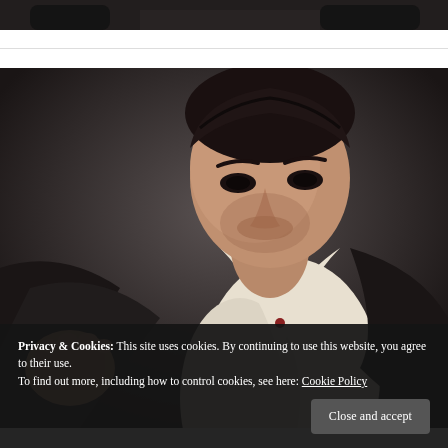[Figure (photo): Partial view of a dark photo at top of page, cropped — showing dark background and hands]
[Figure (photo): Portrait photo of a young man with dark hair, beard stubble, wearing a black blazer with open white shirt, looking downward to the left, dark grey studio background]
Privacy & Cookies: This site uses cookies. By continuing to use this website, you agree to their use.
To find out more, including how to control cookies, see here: Cookie Policy
Close and accept